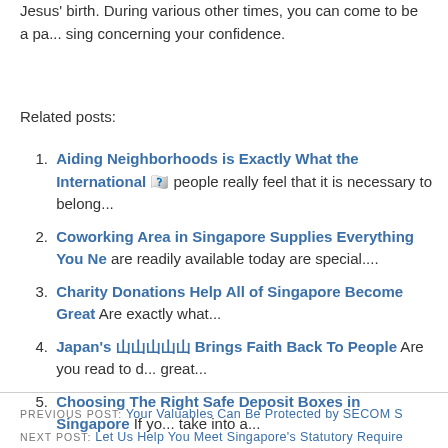Jesus' birth. During various other times, you can come to be a pa... sing concerning your confidence.
Related posts:
1. Aiding Neighborhoods is Exactly What the International ... people really feel that it is necessary to belong...
2. Coworking Area in Singapore Supplies Everything You Ne... are readily available today are special....
3. Charity Donations Help All of Singapore Become Great Are... exactly what...
4. Japan's 日本語 Brings Faith Back To People Are you read to d... great...
5. Choosing The Right Safe Deposit Boxes in Singapore If yo... take into a...
PREVIOUS POST: Your Valuables Can Be Protected by SECOM S... NEXT POST: Let Us Help You Meet Singapore's Statutory Require...